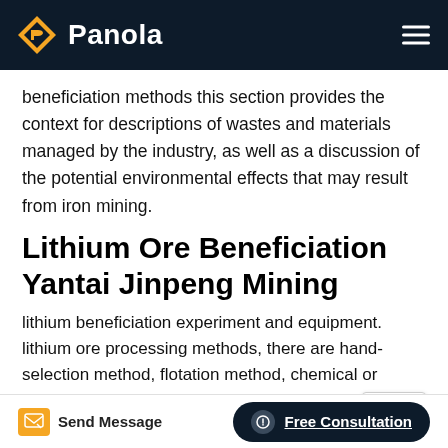Panola
beneficiation methods this section provides the context for descriptions of wastes and materials managed by the industry, as well as a discussion of the potential environmental effects that may result from iron mining.
Lithium Ore Beneficiation Yantai Jinpeng Mining
lithium beneficiation experiment and equipment. lithium ore processing methods, there are hand-selection method, flotation method, chemical or chemical-flotation combination method, thermal cracking method, radioactive selection method, particle flotation method, the.beneficiation of iron ore mineral processing amp metallurgy,may 24, 2016
Send Message   Free Consultation